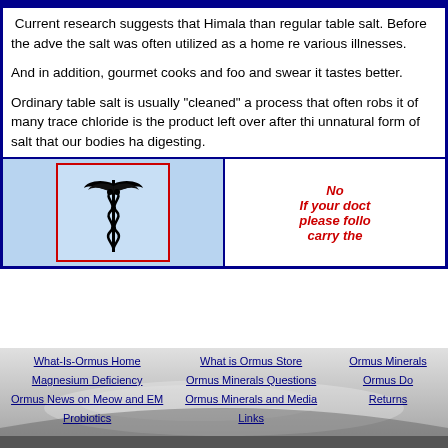Current research suggests that Himala than regular table salt. Before the adve the salt was often utilized as a home re various illnesses.

And in addition, gourmet cooks and foo and swear it tastes better.

Ordinary table salt is usually "cleaned" a process that often robs it of many trace chloride is the product left over after thi unnatural form of salt that our bodies ha digesting.
[Figure (illustration): Caduceus medical symbol (staff with two snakes and wings) shown in a box with red border on light blue background, next to red italic bold text beginning with 'No' and 'If your doct please follo carry the']
What-Is-Ormus Home | What is Ormus Store | Ormus Minerals
Magnesium Deficiency | Ormus Minerals Questions | Ormus Do
Ormus News on Meow and EM Probiotics | Ormus Minerals and Media Links | Returns